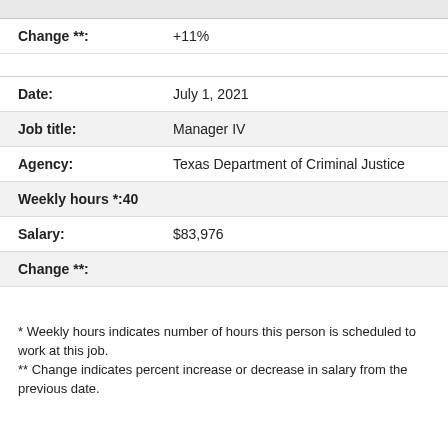| Change **: | +11% |
| Date: | July 1, 2021 |
| Job title: | Manager IV |
| Agency: | Texas Department of Criminal Justice |
| Weekly hours *: | 40 |
| Salary: | $83,976 |
| Change **: |  |
* Weekly hours indicates number of hours this person is scheduled to work at this job.
** Change indicates percent increase or decrease in salary from the previous date.